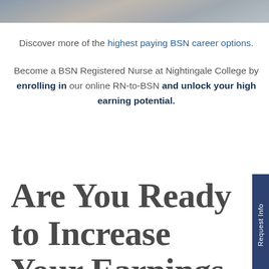[Figure (photo): Partial photo strip at top of page showing a person, cropped]
Discover more of the highest paying BSN career options.
Become a BSN Registered Nurse at Nightingale College by enrolling in our online RN-to-BSN and unlock your high earning potential.
Are You Ready to Increase Your Earnings With a BSN Degree?